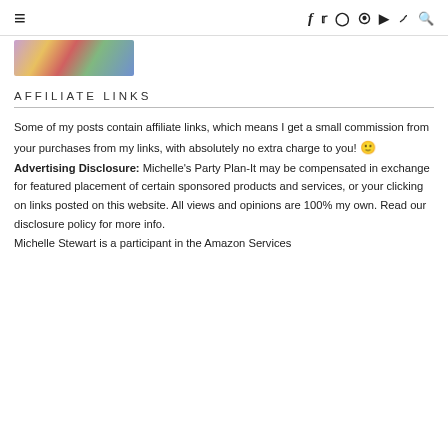≡  f  Twitter  Instagram  Pinterest  YouTube  TikTok  Search
[Figure (photo): Partial view of a floral patterned image on a purple/pink background]
AFFILIATE LINKS
Some of my posts contain affiliate links, which means I get a small commission from your purchases from my links, with absolutely no extra charge to you! 🙂 Advertising Disclosure: Michelle's Party Plan-It may be compensated in exchange for featured placement of certain sponsored products and services, or your clicking on links posted on this website. All views and opinions are 100% my own. Read our disclosure policy for more info.
Michelle Stewart is a participant in the Amazon Services
Michelle Stewart is a participant in the Amazon Services